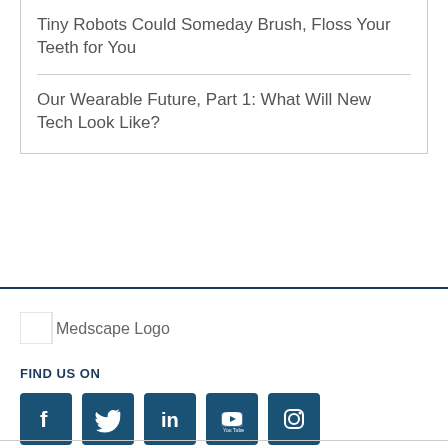Tiny Robots Could Someday Brush, Floss Your Teeth for You
Our Wearable Future, Part 1: What Will New Tech Look Like?
[Figure (logo): Medscape Logo placeholder image]
FIND US ON
[Figure (infographic): Social media icons: Facebook, Twitter, LinkedIn, YouTube, Instagram]